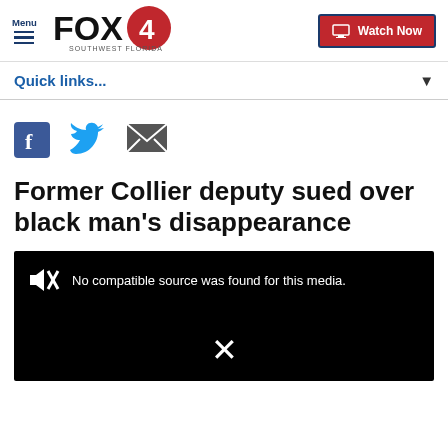Menu | FOX 4 Southwest Florida | Watch Now
Quick links...
[Figure (screenshot): Social sharing icons: Facebook, Twitter, Email]
Former Collier deputy sued over black man's disappearance
[Figure (screenshot): Video player showing error: No compatible source was found for this media.]